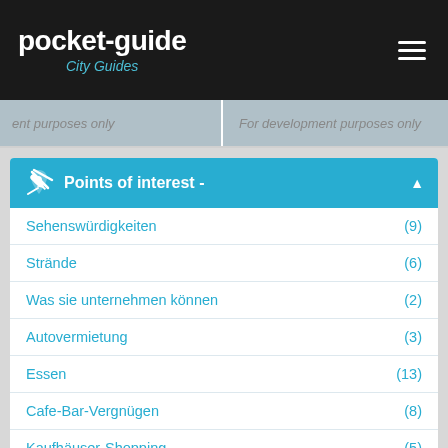pocket-guide City Guides
For development purposes only
Points of interest -
Sehenswürdigkeiten (9)
Strände (6)
Was sie unternehmen können (2)
Autovermietung (3)
Essen (13)
Cafe-Bar-Vergnügen (8)
Kaufhäuser-Shopping (5)
Dienstleistungen (3)
Unterhaltung-Aktivitäten (4)